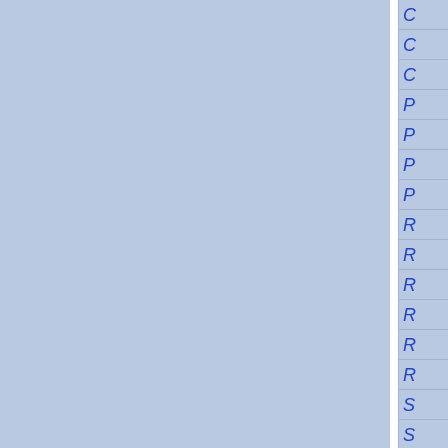[Figure (other): Blue-gray background with a vertical white divider strip and a right-side navigation index panel showing partially visible italic blue letters: C, C, C, P, P, P, P, R, R, R, R, R, R, S, S, S]
C
C
C
P
P
P
P
R
R
R
R
R
R
S
S
S